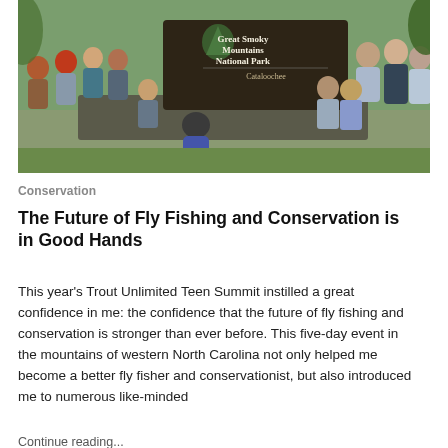[Figure (photo): Group photo of teenagers and adults posing in front of a Great Smoky Mountains National Park sign for Cataloochee, surrounded by green trees and stone wall.]
Conservation
The Future of Fly Fishing and Conservation is in Good Hands
This year's Trout Unlimited Teen Summit instilled a great confidence in me: the confidence that the future of fly fishing and conservation is stronger than ever before. This five-day event in the mountains of western North Carolina not only helped me become a better fly fisher and conservationist, but also introduced me to numerous like-minded